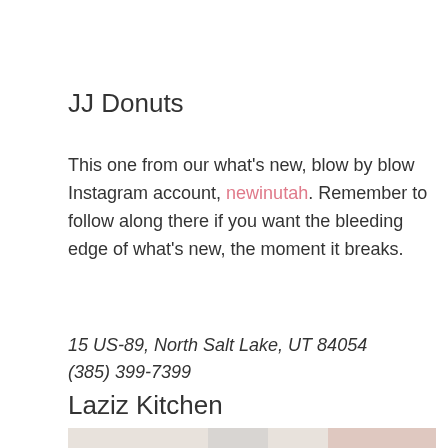JJ Donuts
This one from our what's new, blow by blow Instagram account, newinutah. Remember to follow along there if you want the bleeding edge of what's new, the moment it breaks.
15 US-89, North Salt Lake, UT 84054
(385) 399-7399
Laziz Kitchen
[Figure (photo): Partial photo of food/drinks on a marble surface, showing a glass and utensils with a warm-toned item visible at bottom right]